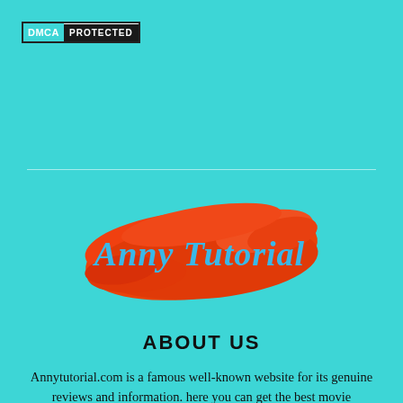[Figure (logo): DMCA Protected badge: teal 'DMCA' label on left, dark 'PROTECTED' label on right, white bordered box]
[Figure (logo): Anny Tutorial logo: cursive blue text 'Anny Tutorial' over an orange paint-brush splash background]
ABOUT US
Annytutorial.com is a famous well-known website for its genuine reviews and information. here you can get the best movie reviews, best product & service reviews, and the latest news.